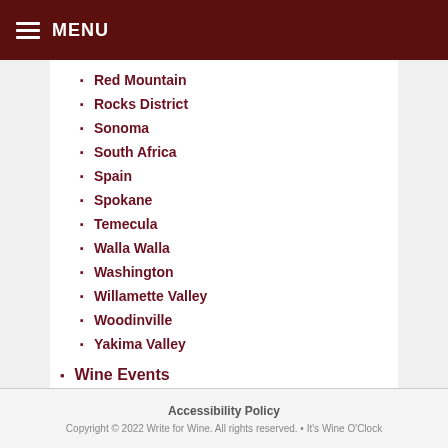MENU
Red Mountain
Rocks District
Sonoma
South Africa
Spain
Spokane
Temecula
Walla Walla
Washington
Willamette Valley
Woodinville
Yakima Valley
Wine Events
Wine Products
Accessibility Policy
Copyright © 2022 Write for Wine. All rights reserved. • It's Wine O'Clock